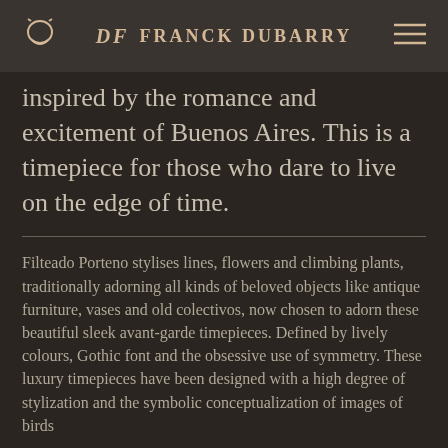Franck Dubarry
inspired by the romance and excitement of Buenos Aires. This is a timepiece for those who dare to live on the edge of time.
Filteado Porteno stylises lines, flowers and climbing plants, traditionally adorning all kinds of beloved objects like antique furniture, vases and old colectivos, now chosen to adorn these beautiful sleek avant-garde timepieces. Defined by lively colours, Gothic font and the obsessive use of symmetry. These luxury timepieces have been designed with a high degree of stylization and the symbolic conceptualization of images of birds